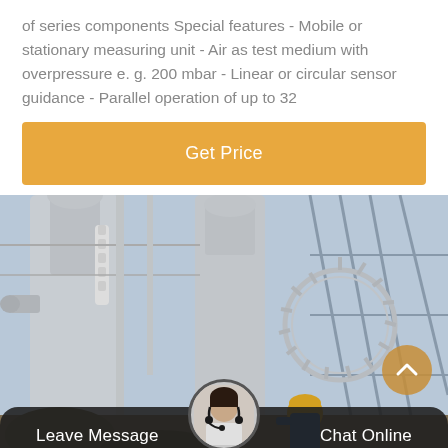of series components Special features - Mobile or stationary measuring unit - Air as test medium with overpressure e. g. 200 mbar - Linear or circular sensor guidance - Parallel operation of up to 32
Get Price
[Figure (photo): Industrial electrical substation with large metal equipment, insulators, pipes, a circular gear-like component, and a worker in blue jacket and yellow hard hat in the background among steel lattice structures.]
Leave Message
Chat Online